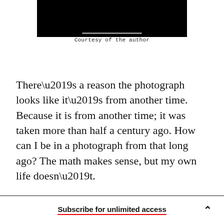[Figure (photo): Black rectangle representing a photograph/video still with a grey scrub bar at the bottom center, shown in a media player style]
Courtesy of the author
There’s a reason the photograph looks like it’s from another time. Because it is from another time; it was taken more than half a century ago. How can I be in a photograph from that long ago? The math makes sense, but my own life doesn’t.
When I stood on that dock, “man” hadn’t walked
Subscribe for unlimited access